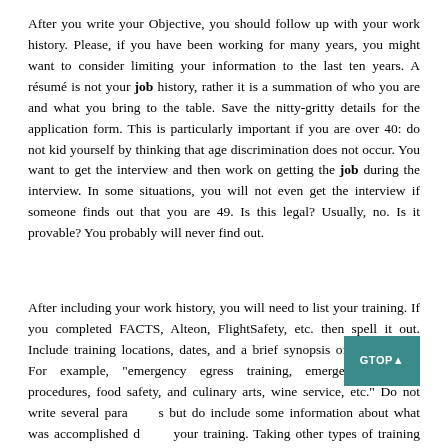After you write your Objective, you should follow up with your work history. Please, if you have been working for many years, you might want to consider limiting your information to the last ten years. A résumé is not your job history, rather it is a summation of who you are and what you bring to the table. Save the nitty-gritty details for the application form. This is particularly important if you are over 40: do not kid yourself by thinking that age discrimination does not occur. You want to get the interview and then work on getting the job during the interview. In some situations, you will not even get the interview if someone finds out that you are 49. Is this legal? Usually, no. Is it provable? You probably will never find out.
After including your work history, you will need to list your training. If you completed FACTS, Alteon, FlightSafety, etc. then spell it out. Include training locations, dates, and a brief synopsis of the training. For example, "emergency egress training, emergency medical procedures, food safety, and culinary arts, wine service, etc." Do not write several paragraphs but do include some information about what was accomplished during your training. Taking other types of training related to the field can and should